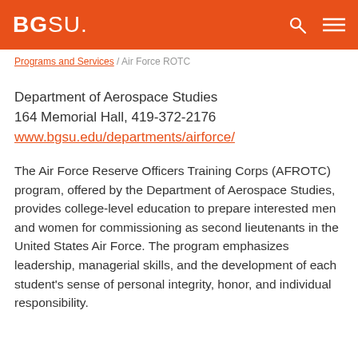BGSU.
Programs and Services / Air Force ROTC
Department of Aerospace Studies
164 Memorial Hall, 419-372-2176
www.bgsu.edu/departments/airforce/
The Air Force Reserve Officers Training Corps (AFROTC) program, offered by the Department of Aerospace Studies, provides college-level education to prepare interested men and women for commissioning as second lieutenants in the United States Air Force. The program emphasizes leadership, managerial skills, and the development of each student's sense of personal integrity, honor, and individual responsibility.